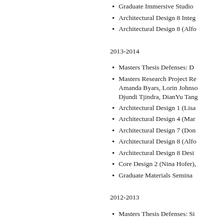Graduate Immersive Studio
Architectural Design 8 Integ
Architectural Design 8 (Alfo
2013-2014
Masters Thesis Defenses: D
Masters Research Project Re Amanda Byars, Lorin Johnso Djundi Tjindra, DianYu Tang
Architectural Design 1 (Lisa
Architectural Design 4 (Mar
Architectural Design 7 (Don
Architectural Design 8 (Alfo
Architectural Design 8 Desi
Core Design 2 (Nina Hofer),
Graduate Materials Semina
2012-2013
Masters Thesis Defenses: Si